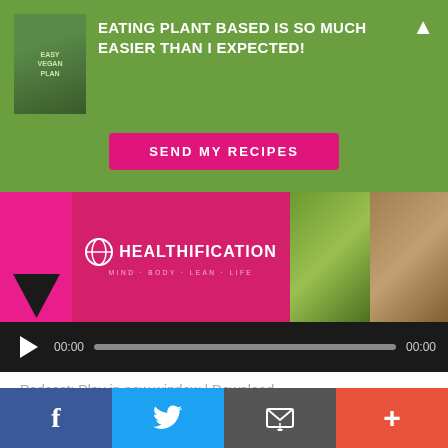[Figure (screenshot): Green promotional banner with book image, bold white text 'EATING PLANT BASED IS SO MUCH EASIER THAN I EXPECTED!', and a pink 'SEND MY RECIPES' button]
[Figure (screenshot): Healthification branded image strip with pink/magenta design, logo text, and food photos]
[Figure (screenshot): Dark audio player bar showing play button, 00:00 start time, progress bar, and 00:00 end time]
Podcast: Play in new window | Download
Subscribe: RSS
Hey Body Gainers!
[Figure (screenshot): Social media share bar with Facebook, Twitter, email, and more (+) buttons]